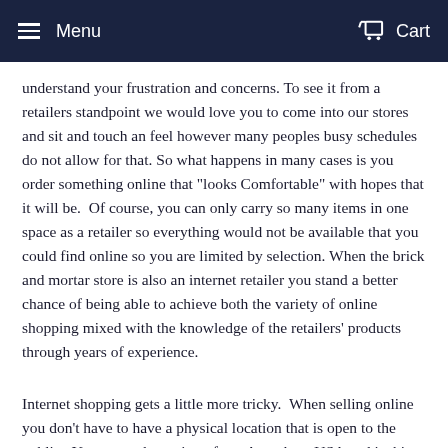Menu   Cart
understand your frustration and concerns. To see it from a retailers standpoint we would love you to come into our stores and sit and touch an feel however many peoples busy schedules do not allow for that. So what happens in many cases is you order something online that "looks Comfortable" with hopes that it will be.  Of course, you can only carry so many items in one space as a retailer so everything would not be available that you could find online so you are limited by selection. When the brick and mortar store is also an internet retailer you stand a better chance of being able to achieve both the variety of online shopping mixed with the knowledge of the retailers' products through years of experience.
Internet shopping gets a little more tricky.  When selling online you don't have to have a physical location that is open to the public.  You can order an item from Anywhere USA and it ships to you from Anywhere USA and who knows whether